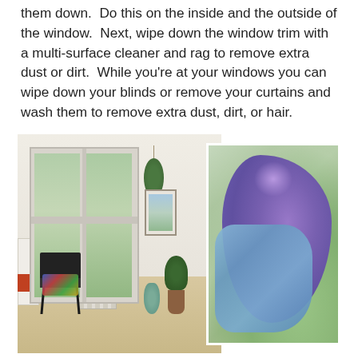them down.  Do this on the inside and the outside of the window.  Next, wipe down the window trim with a multi-surface cleaner and rag to remove extra dust or dirt.  While you're at your windows you can wipe down your blinds or remove your curtains and wash them to remove extra dust, dirt, or hair.
[Figure (photo): Composite of two photos: left shows a bright living room with large windows, hanging plants, a chair, radiator, potted plant, and decorative vase on a wooden floor; right shows a purple-gloved hand holding a blue cloth, used for window cleaning.]